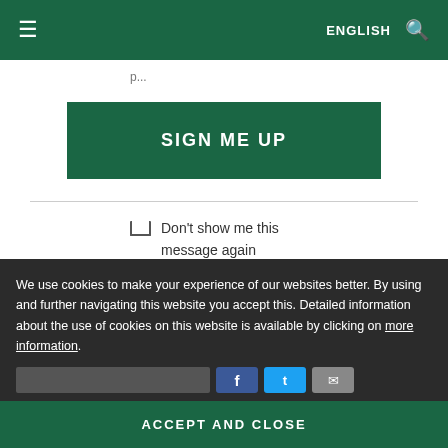ENGLISH
SIGN ME UP
Don't show me this message again
NO, THANKS
We use cookies to make your experience of our websites better. By using and further navigating this website you accept this. Detailed information about the use of cookies on this website is available by clicking on more information.
ACCEPT AND CLOSE